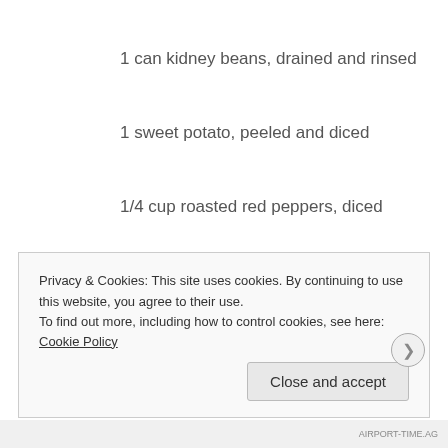1 can kidney beans, drained and rinsed
1 sweet potato, peeled and diced
1/4 cup roasted red peppers, diced
3/4 tsp cumin
3/4 tsp Hungarian Paprika
1 tablespoon chili powder
1/2 cup sour cream
Privacy & Cookies: This site uses cookies. By continuing to use this website, you agree to their use.
To find out more, including how to control cookies, see here: Cookie Policy
AIRPORT-TIME.AG